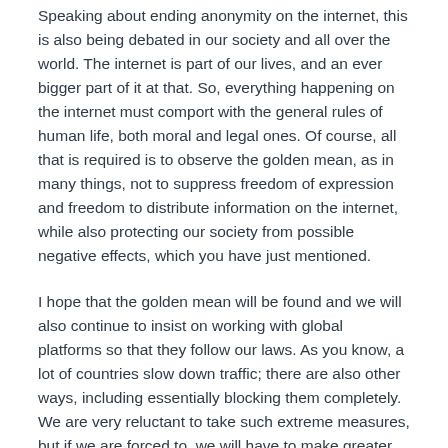Speaking about ending anonymity on the internet, this is also being debated in our society and all over the world. The internet is part of our lives, and an ever bigger part of it at that. So, everything happening on the internet must comport with the general rules of human life, both moral and legal ones. Of course, all that is required is to observe the golden mean, as in many things, not to suppress freedom of expression and freedom to distribute information on the internet, while also protecting our society from possible negative effects, which you have just mentioned.
I hope that the golden mean will be found and we will also continue to insist on working with global platforms so that they follow our laws. As you know, a lot of countries slow down traffic; there are also other ways, including essentially blocking them completely. We are very reluctant to take such extreme measures, but if we are forced to, we will have to make greater demands on those who work in this area and neglect the interests of the Russian society.